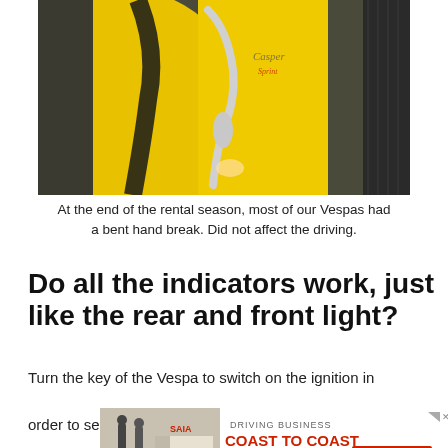[Figure (photo): Close-up photo of a yellow Vespa scooter showing chrome handlebar/brake lever detail and a decorative script badge, with carbon-fiber panel visible on the right side.]
At the end of the rental season, most of our Vespas had a bent hand break. Did not affect the driving.
Do all the indicators work, just like the rear and front light?
Turn the key of the Vespa to switch on the ignition in order to see if all the electronics work. It is important that
[Figure (infographic): Advertisement banner for SAIA freight: 'DRIVING BUSINESS COAST TO COAST' with GET QUOTE button, showing a truck and two people.]